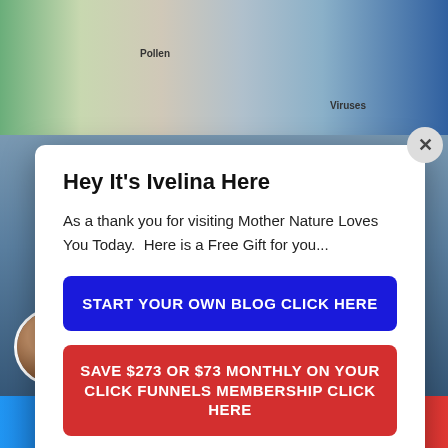[Figure (screenshot): Background showing indoor room with plants, pillows, and labels for Pollen, Viruses, Dust, VOCs. Right side shows space/cosmic image.]
Hey It's Ivelina Here
As a thank you for visiting Mother Nature Loves You Today.  Here is a Free Gift for you...
START YOUR OWN BLOG CLICK HERE
SAVE $273 OR $73 MONTHLY ON YOUR CLICK FUNNELS MEMBERSHIP CLICK HERE
TAKE PAYMENTS ON YOUR BLOG OR WEBSITE